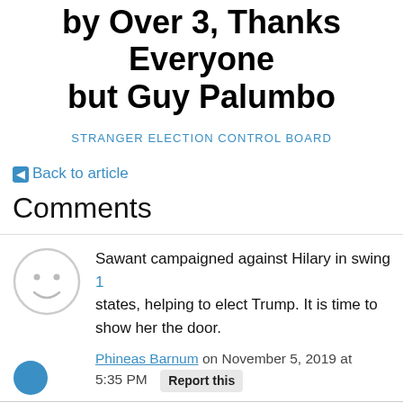by Over 3, Thanks Everyone but Guy Palumbo
STRANGER ELECTION CONTROL BOARD
← Back to article
Comments
Sawant campaigned against Hilary in swing states, helping to elect Trump. It is time to show her the door.
Phineas Barnum on November 5, 2019 at 5:35 PM  Report this